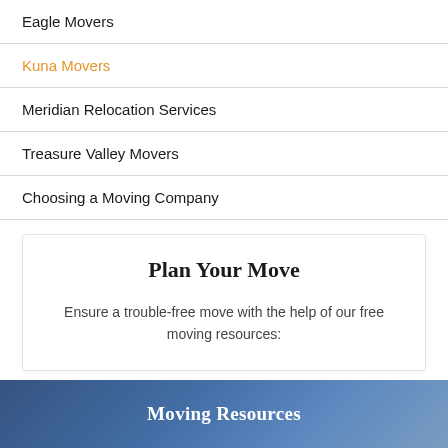Eagle Movers
Kuna Movers
Meridian Relocation Services
Treasure Valley Movers
Choosing a Moving Company
Plan Your Move
Ensure a trouble-free move with the help of our free moving resources:
Moving Resources